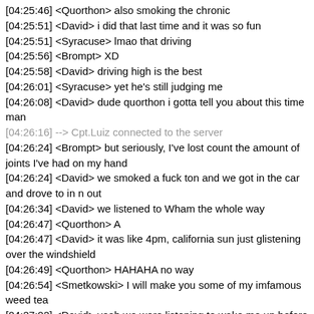[04:25:46] <Quorthon> also smoking the chronic
[04:25:51] <David> i did that last time and it was so fun
[04:25:51] <Syracuse> lmao that driving
[04:25:56] <Brompt> XD
[04:25:58] <David> driving high is the best
[04:26:01] <Syracuse> yet he's still judging me
[04:26:08] <David> dude quorthon i gotta tell you about this time man
[04:26:16] --> Cpt.Luiz connected to the server
[04:26:24] <Brompt> but seriously, I've lost count the amount of joints I've had on my hand
[04:26:24] <David> we smoked a fuck ton and we got in the car and drove to in n out
[04:26:34] <David> we listened to Wham the whole way
[04:26:47] <Quorthon> A
[04:26:47] <David> it was like 4pm, california sun just glistening over the windshield
[04:26:49] <Quorthon> HAHAHA no way
[04:26:54] <Smetkowski> I will make you some of my imfamous weed tea
[04:27:02] <David> yeah we were listening to wake me up before you go go on full blast with the windows down
[04:27:04] <Quorthon> smet where are you from
[04:27:07] <David> we looked like such fuckin idiots LOL
[04:27:07] <Syracuse> game freeze incoming
[04:27:12] <Smetkowski> Poland